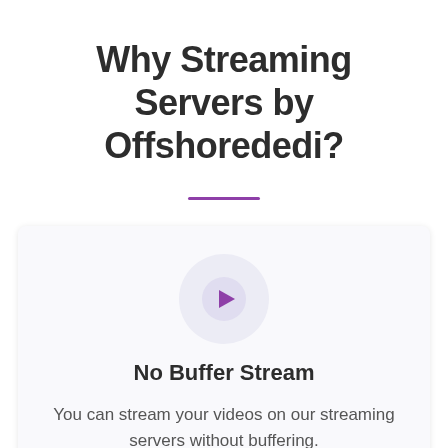Why Streaming Servers by Offshorededi?
No Buffer Stream
You can stream your videos on our streaming servers without buffering.